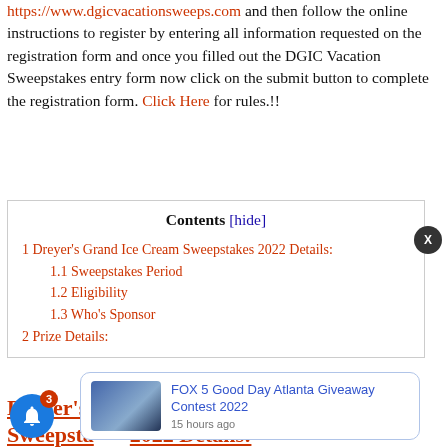https://www.dgicvacationsweeps.com and then follow the online instructions to register by entering all information requested on the registration form and once you filled out the DGIC Vacation Sweepstakes entry form now click on the submit button to complete the registration form. Click Here for rules.!!
| Contents [hide] |
| --- |
| 1 Dreyer's Grand Ice Cream Sweepstakes 2022 Details: |
| 1.1 Sweepstakes Period |
| 1.2 Eligibility |
| 1.3 Who's Sponsor |
| 2 Prize Details: |
Dreyer's Grand Ice Cream Sweepstakes 2022 Details:
[Figure (screenshot): FOX 5 Good Day Atlanta Giveaway Contest 2022 notification popup with thumbnail image and timestamp '15 hours ago']
FOX 5 Good Day Atlanta Giveaway Contest 2022
15 hours ago